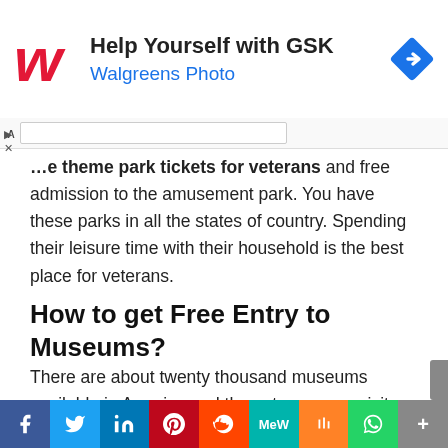[Figure (logo): Walgreens red W logo with Walgreens Photo ad banner: 'Help Yourself with GSK' and a blue diamond navigation icon]
...e theme park tickets for veterans and free admission to the amusement park. You have these parks in all the states of country. Spending their leisure time with their household is the best place for veterans.
How to get Free Entry to Museums?
There are about twenty thousand museums available in America and the veterans can visit any museum with their families without paying
[Figure (infographic): Social media share bar with icons: Facebook, Twitter, LinkedIn, Pinterest, Reddit, MeWe, Mix, WhatsApp, More]